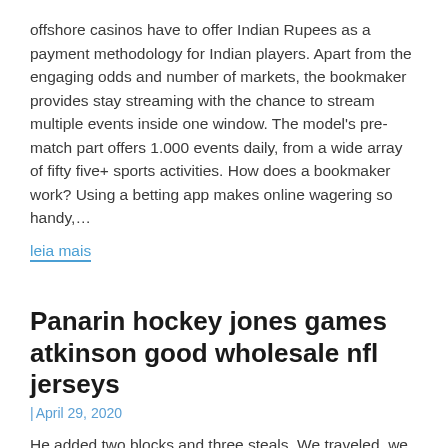offshore casinos have to offer Indian Rupees as a payment methodology for Indian players. Apart from the engaging odds and number of markets, the bookmaker provides stay streaming with the chance to stream multiple events inside one window. The model's pre-match part offers 1.000 events daily, from a wide array of fifty five+ sports activities. How does a bookmaker work? Using a betting app makes online wagering so handy,…
leia mais
Panarin hockey jones games atkinson good wholesale nfl jerseys
| April 29, 2020
He added two blocks and three steals. We traveled, we did a lot of things. and were unsuccessful. Seeing actual progress this season in terms of wins and losses would have been preferred, adding even one more lottery pick will